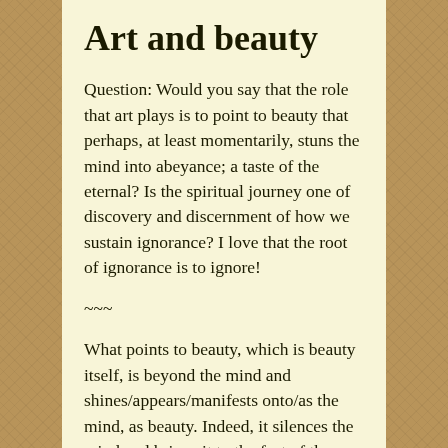Art and beauty
Question: Would you say that the role that art plays is to point to beauty that perhaps, at least momentarily, stuns the mind into abeyance; a taste of the eternal? Is the spiritual journey one of discovery and discernment of how we sustain ignorance? I love that the root of ignorance is to ignore!
~~~
What points to beauty, which is beauty itself, is beyond the mind and shines/appears/manifests onto/as the mind, as beauty. Indeed, it silences the mind and brings it to the feet of the Master, to the feet of God in a moment of